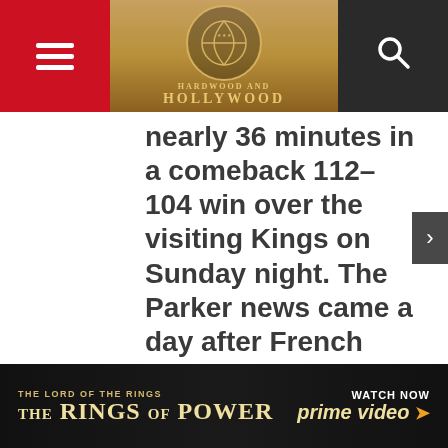Hardwood and Hollywood logo header with hamburger menu and search icon
nearly 36 minutes in a comeback 112-104 win over the visiting Kings on Sunday night. The Parker news came a day after French soccer star Nicolas Anelka was heavily criticized for his use of the same gesture following his goal for West Bromwich Albion in
[Figure (screenshot): The Lord of the Rings: The Rings of Power - Watch Now on Prime Video advertisement banner]